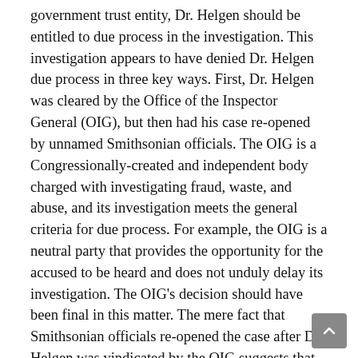government trust entity, Dr. Helgen should be entitled to due process in the investigation. This investigation appears to have denied Dr. Helgen due process in three key ways. First, Dr. Helgen was cleared by the Office of the Inspector General (OIG), but then had his case re-opened by unnamed Smithsonian officials. The OIG is a Congressionally-created and independent body charged with investigating fraud, waste, and abuse, and its investigation meets the general criteria for due process. For example, the OIG is a neutral party that provides the opportunity for the accused to be heard and does not unduly delay its investigation. The OIG's decision should have been final in this matter. The mere fact that Smithsonian officials re-opened the case after Dr. Helgen was vindicated by the OIG suggests that Dr. Helgen is not being afforded due process.
Second, the second investigation is overseen by someone who is biased against Dr. Helgen. Due process requires that Dr. Helgen have a neutral decision-maker in his case. Unlike the